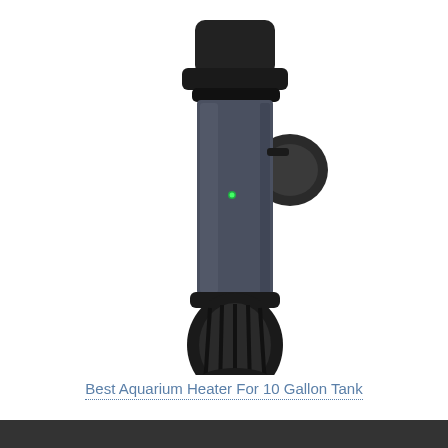[Figure (photo): A black submersible aquarium heater with a cylindrical glass/plastic tube body, black plastic top cap with suction cup mount, and black bottom guard cap. The heater has a small green indicator light on the tube body.]
Best Aquarium Heater For 10 Gallon Tank